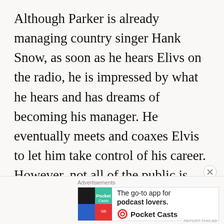Although Parker is already managing country singer Hank Snow, as soon as he hears Elivs on the radio, he is impressed by what he hears and has dreams of becoming his manager. He eventually meets and coaxes Elvis to let him take control of his career. However, not all of the public is impressed with the young performer. Many parents believe that his ruining their children and racist politicians also attack him. After a violent incident at a concert, Elvis is faced with a possible jail term. However, Parker persuades the government to draft Elvis into the US A...
[Figure (other): Advertisement banner for Pocket Casts podcast app. Shows logo with colorful quadrant design, tagline 'The go-to app for podcast lovers.' with Pocket Casts branding and logo.]